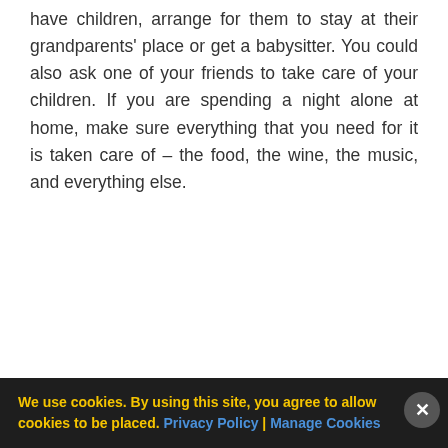have children, arrange for them to stay at their grandparents' place or get a babysitter. You could also ask one of your friends to take care of your children. If you are spending a night alone at home, make sure everything that you need for it is taken care of – the food, the wine, the music, and everything else.
We use cookies. By using this site, you agree to allow cookies to be placed. Privacy Policy | Manage Cookies